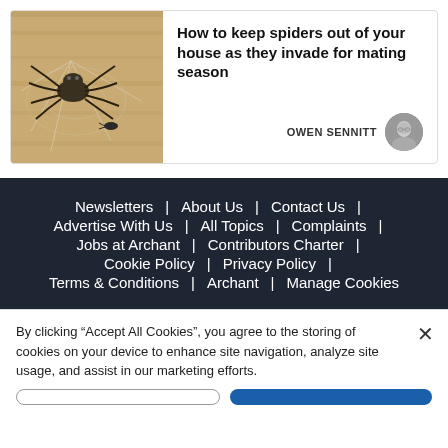[Figure (photo): Photo of a spider on a web against a wooden background]
How to keep spiders out of your house as they invade for mating season
OWEN SENNITT
[Figure (photo): Circular avatar photo of author Owen Sennitt]
Newsletters | About Us | Contact Us |
Advertise With Us | All Topics | Complaints |
Jobs at Archant | Contributors Charter |
Cookie Policy | Privacy Policy |
Terms & Conditions | Archant | Manage Cookies
By clicking “Accept All Cookies”, you agree to the storing of cookies on your device to enhance site navigation, analyze site usage, and assist in our marketing efforts.